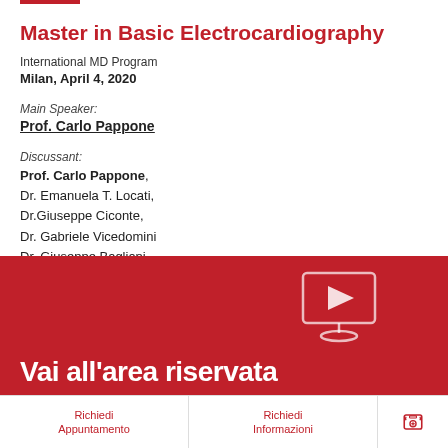Master in Basic Electrocardiography
International MD Program
Milan, April 4, 2020
Main Speaker:
Prof. Carlo Pappone
Discussant:
Prof. Carlo Pappone,
Dr. Emanuela T. Locati,
Dr.Giuseppe Ciconte,
Dr. Gabriele Vicedomini
Dr. Giuseppe Bagliani
[Figure (screenshot): Red banner with video/play icon and text 'Vai all'area riservata']
Richiedi Appuntamento
Richiedi Informazioni
[Figure (illustration): Phone/contact icon in red]